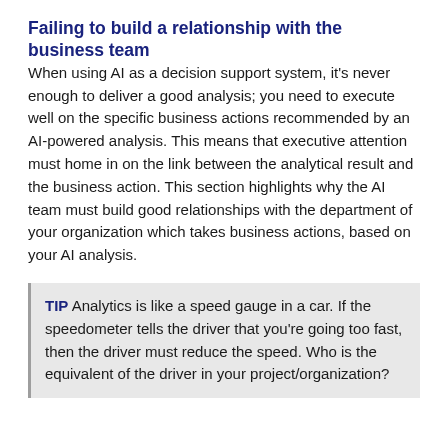Failing to build a relationship with the business team
When using AI as a decision support system, it's never enough to deliver a good analysis; you need to execute well on the specific business actions recommended by an AI-powered analysis. This means that executive attention must home in on the link between the analytical result and the business action. This section highlights why the AI team must build good relationships with the department of your organization which takes business actions, based on your AI analysis.
TIP Analytics is like a speed gauge in a car. If the speedometer tells the driver that you're going too fast, then the driver must reduce the speed. Who is the equivalent of the driver in your project/organization?